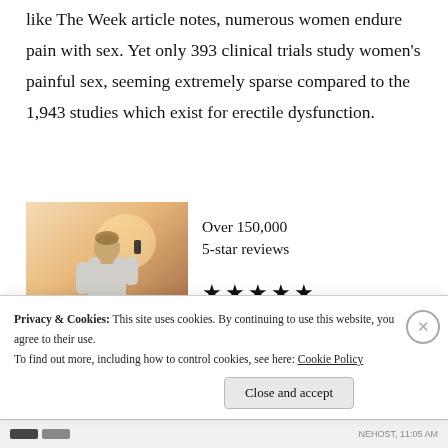like The Week article notes, numerous women endure pain with sex. Yet only 393 clinical trials study women's painful sex, seeming extremely sparse compared to the 1,943 studies which exist for erectile dysfunction.
[Figure (photo): A person seen from behind, wearing a white t-shirt, holding a phone up, with a warm sunset/backlit sky in the background.]
Over 150,000 5-star reviews ★★★★★
Privacy & Cookies: This site uses cookies. By continuing to use this website, you agree to their use.
To find out more, including how to control cookies, see here: Cookie Policy
Close and accept